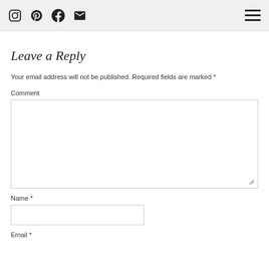Social icons (Instagram, Pinterest, Facebook, Email) and hamburger menu
Leave a Reply
Your email address will not be published. Required fields are marked *
Comment
[Figure (other): Comment text area input box]
Name *
[Figure (other): Name text input box]
Email *